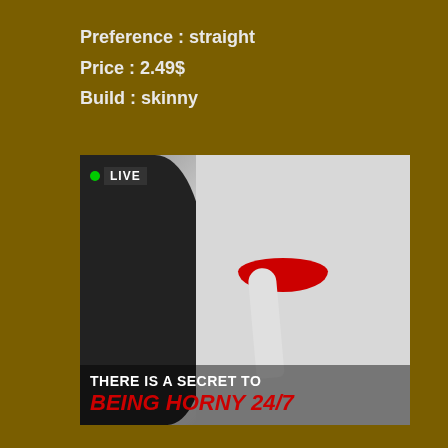Preference : straight
Price : 2.49$
Build : skinny
[Figure (photo): Black and white close-up photo of a woman with red lips holding a finger to her lips in a shushing gesture. Has a LIVE badge in the top left. Overlay text reads: THERE IS A SECRET TO BEING HORNY 24/7]